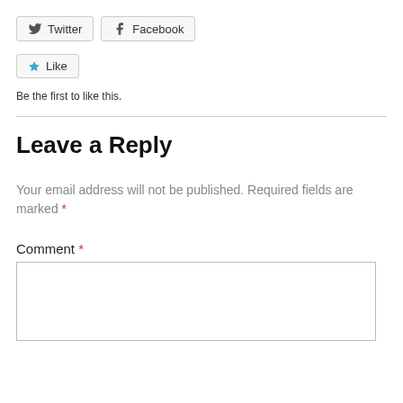[Figure (other): Twitter and Facebook share buttons rendered as UI widgets]
[Figure (other): Like button rendered as a UI widget with a blue star icon]
Be the first to like this.
Leave a Reply
Your email address will not be published. Required fields are marked *
Comment *
[Figure (other): Comment text input area (empty textarea)]